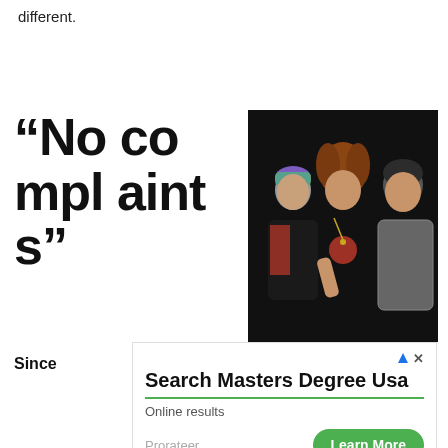different.
“No co mpl aint s”
[Figure (photo): Three rock musicians posing together against a dark background. Left: man with colorful tie-dye bandana and black jacket with red accents. Center: long curly reddish-brown haired man in black sleeveless shirt with Canadian maple leaf design, making rock hand gesture with tattoos visible. Right: man with dark hair wearing grey patterned blazer.]
Since
[Figure (other): Advertisement banner: Search Masters Degree Usa. Online results. Prorateer. Learn More button (green).]